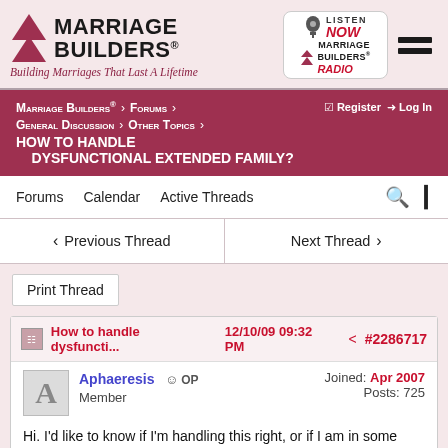[Figure (logo): Marriage Builders logo with triangle icon and tagline 'Building Marriages That Last A Lifetime', alongside a Marriage Builders Radio badge and hamburger menu icon]
Marriage Builders® > Forums > Register Log In > General Discussion > Other Topics > How to handle dysfunctional extended family?
Forums  Calendar  Active Threads
◄ Previous Thread    Next Thread ►
Print Thread
How to handle dysfuncti...  12/10/09 09:32 PM  #2286717
Aphaeresis  OP  Member  Joined: Apr 2007  Posts: 725
Hi. I'd like to know if I'm handling this right, or if I am in some way failing to stand up for myself. My husband is fine with any